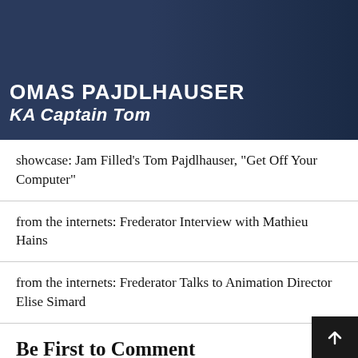[Figure (photo): Photo of Tom Pajdlhauser (Captain Tom) overlaid with white text on dark blue background showing his name and nickname]
showcase: Jam Filled's Tom Pajdlhauser, “Get Off Your Computer”
from the internets: Frederator Interview with Mathieu Hains
from the internets: Frederator Talks to Animation Director Elise Simard
Be First to Comment
Leave a Reply